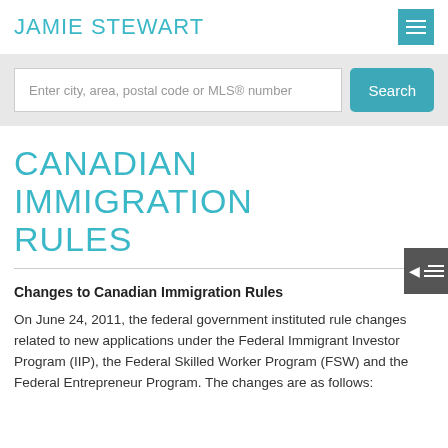JAMIE STEWART
[Figure (screenshot): Search bar with input field 'Enter city, area, postal code or MLS® number' and a teal Search button]
CANADIAN IMMIGRATION RULES
Changes to Canadian Immigration Rules
On June 24, 2011, the federal government instituted rule changes related to new applications under the Federal Immigrant Investor Program (IIP), the Federal Skilled Worker Program (FSW) and the Federal Entrepreneur Program. The changes are as follows: